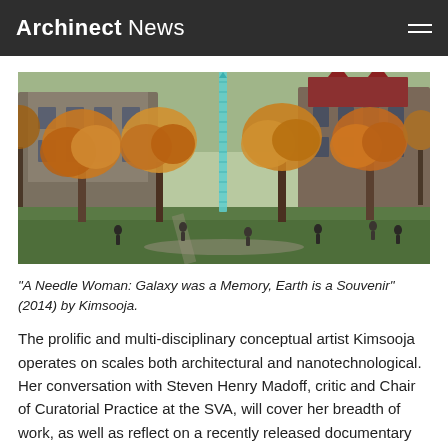Archinect News
[Figure (photo): Outdoor campus scene in autumn with fall foliage trees, a tall narrow teal/glass needle sculpture in the center, historic stone buildings in the background, and people walking on paths across a green lawn.]
"A Needle Woman: Galaxy was a Memory, Earth is a Souvenir" (2014) by Kimsooja.
The prolific and multi-disciplinary conceptual artist Kimsooja operates on scales both architectural and nanotechnological. Her conversation with Steven Henry Madoff, critic and Chair of Curatorial Practice at the SVA, will cover her breadth of work, as well as reflect on a recently released documentary